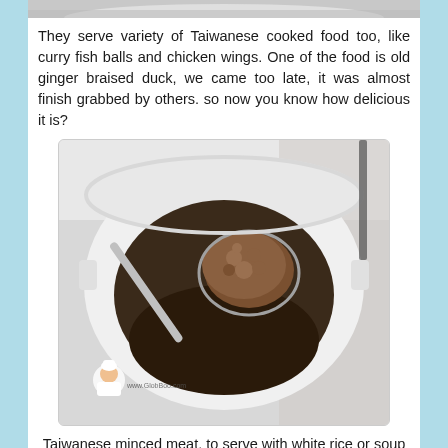[Figure (photo): Partial top image cropped at top of page, showing a light-colored bowl or dish]
They serve variety of Taiwanese cooked food too, like curry fish balls and chicken wings. One of the food is old ginger braised duck, we came too late, it was almost finish grabbed by others. so now you know how delicious it is?
[Figure (photo): A white slow cooker pot with a ladle scooping braised minced meat. A small chef avatar watermark is visible at the bottom left corner.]
Taiwanese minced meat, to serve with white rice or soup noodles. How to do a minced meat noodles?
[Figure (photo): Partial bottom image showing cooking ingredients or noodles being prepared]